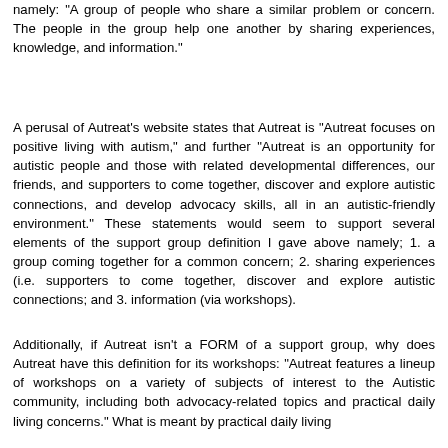namely: "A group of people who share a similar problem or concern. The people in the group help one another by sharing experiences, knowledge, and information."
A perusal of Autreat's website states that Autreat is "Autreat focuses on positive living with autism," and further "Autreat is an opportunity for autistic people and those with related developmental differences, our friends, and supporters to come together, discover and explore autistic connections, and develop advocacy skills, all in an autistic-friendly environment." These statements would seem to support several elements of the support group definition I gave above namely; 1. a group coming together for a common concern; 2. sharing experiences (i.e. supporters to come together, discover and explore autistic connections; and 3. information (via workshops).
Additionally, if Autreat isn't a FORM of a support group, why does Autreat have this definition for its workshops: "Autreat features a lineup of workshops on a variety of subjects of interest to the Autistic community, including both advocacy-related topics and practical daily living concerns." What is meant by practical daily living